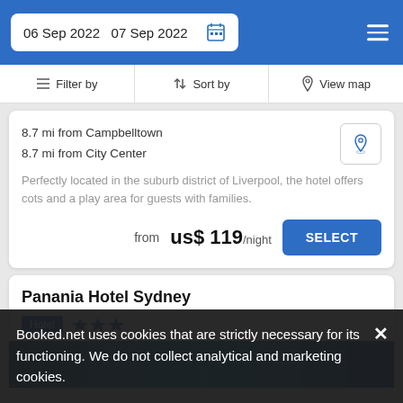06 Sep 2022  07 Sep 2022
Filter by  Sort by  View map
8.7 mi from Campbelltown
8.7 mi from City Center
Perfectly located in the suburb district of Liverpool, the hotel offers cots and a play area for guests with families.
from us$ 119/night
Panania Hotel Sydney
Hotel ★★★
Booked.net uses cookies that are strictly necessary for its functioning. We do not collect analytical and marketing cookies.